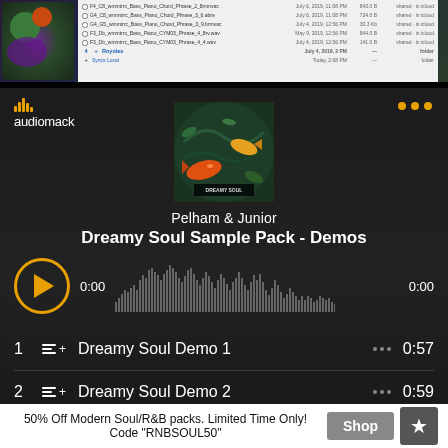[Figure (screenshot): macOS Finder file browser showing audio files, partially visible, with a colorful image on the left side]
[Figure (screenshot): Audiomack music player interface showing 'Pelham & Junior - Dreamy Soul Sample Pack - Demos' with album art of koi fish, waveform, play button showing 0:00 timecode, and track list with Dreamy Soul Demo 1 (0:57) and Dreamy Soul Demo 2 (0:59)]
50% Off Modern Soul/R&B packs. Limited Time Only! Code "RNBSOUL50"
Shop